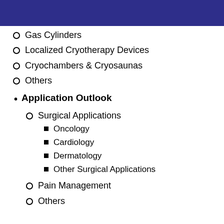Gas Cylinders
Localized Cryotherapy Devices
Cryochambers & Cryosaunas
Others
Application Outlook
Surgical Applications
Oncology
Cardiology
Dermatology
Other Surgical Applications
Pain Management
Others